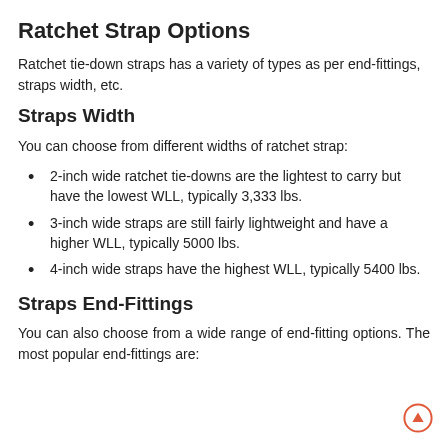Ratchet Strap Options
Ratchet tie-down straps has a variety of types as per end-fittings, straps width, etc.
Straps Width
You can choose from different widths of ratchet strap:
2-inch wide ratchet tie-downs are the lightest to carry but have the lowest WLL, typically 3,333 lbs.
3-inch wide straps are still fairly lightweight and have a higher WLL, typically 5000 lbs.
4-inch wide straps have the highest WLL, typically 5400 lbs.
Straps End-Fittings
You can also choose from a wide range of end-fitting options. The most popular end-fittings are: